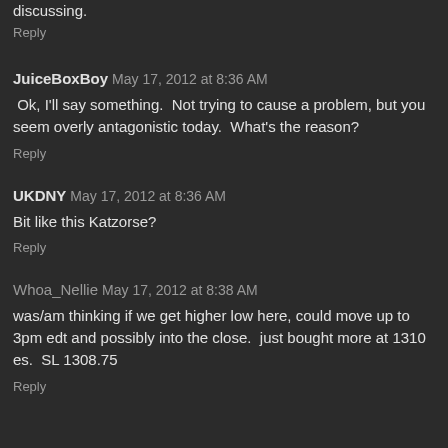discussing.
Reply
JuiceBoxBoy  May 17, 2012 at 8:36 AM
Ok, I'll say something.  Not trying to cause a problem, but you seem overly antagonistic today.  What's the reason?
Reply
UKDNY  May 17, 2012 at 8:36 AM
Bit like this Katzorse?
Reply
Whoa_Nellie  May 17, 2012 at 8:38 AM
was/am thinking if we get higher low here, could move up to 3pm edt and possibly into the close.  just bought more at 1310 es.  SL 1308.75
Reply